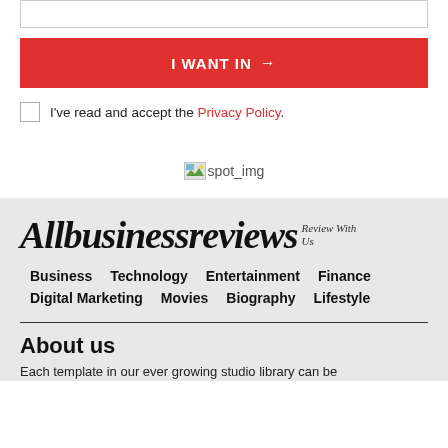I WANT IN →
I've read and accept the Privacy Policy.
[Figure (illustration): Broken image placeholder labeled spot_img]
Allbusinessreviews Review With Us
Business   Technology   Entertainment   Finance   Digital Marketing   Movies   Biography   Lifestyle
About us
Each template in our ever growing studio library can be